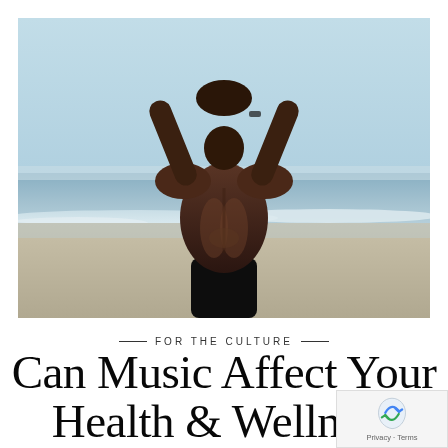[Figure (photo): Athletic man with dark skin standing with his back to the camera at a beach, arms raised and clasped above his head, showing his muscular back. Ocean waves and a clear blue sky in the background.]
— FOR THE CULTURE —
Can Music Affect Your Health & Wellness